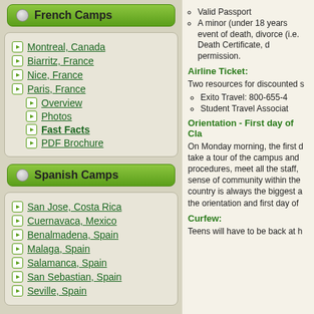French Camps
Montreal, Canada
Biarritz, France
Nice, France
Paris, France
Overview
Photos
Fast Facts
PDF Brochure
Spanish Camps
San Jose, Costa Rica
Cuernavaca, Mexico
Benalmadena, Spain
Malaga, Spain
Salamanca, Spain
San Sebastian, Spain
Seville, Spain
Valid Passport
A minor (under 18 years... event of death, divorce (i.e. Death Certificate, d... permission.
Airline Ticket:
Two resources for discounted s...
Exito Travel:  800-655-4...
Student Travel Associat...
Orientation - First day of Cla...
On Monday morning, the first d... take a tour of the campus and ... procedures, meet all the staff, ... sense of community within the ... country is always the biggest a... the orientation and first day of ...
Curfew:
Teens will have to be back at h...